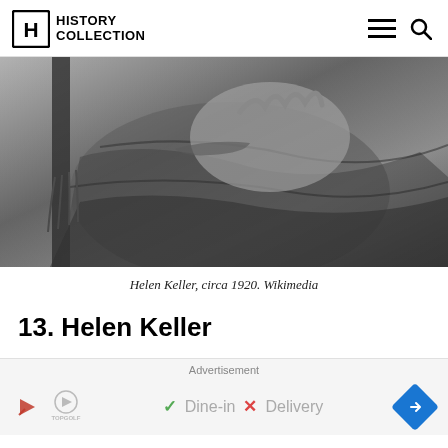History Collection
[Figure (photo): Black and white photograph of Helen Keller circa 1920, showing her torso/hands area, seated, wearing dark clothing with lace detail, holding something in her hands.]
Helen Keller, circa 1920. Wikimedia
13. Helen Keller
Advertisement
[Figure (other): Advertisement banner for TopGolf showing logo, checkmark with Dine-in, X with Delivery, and blue diamond navigation icon.]